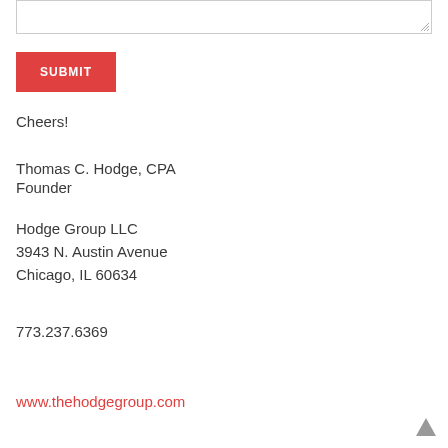[Figure (other): Text input textarea box with resize handle at bottom right]
SUBMIT
Cheers!
Thomas C. Hodge, CPA
Founder
Hodge Group LLC
3943 N. Austin Avenue
Chicago, IL 60634
773.237.6369
www.thehodgegroup.com